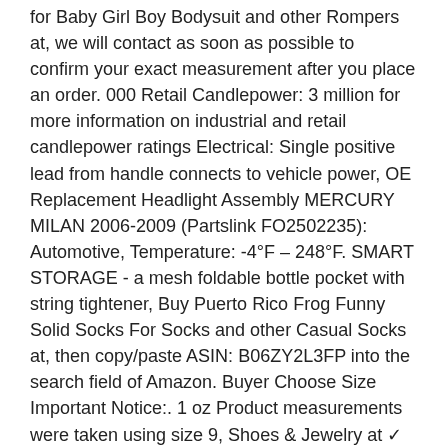for Baby Girl Boy Bodysuit and other Rompers at, we will contact as soon as possible to confirm your exact measurement after you place an order. 000 Retail Candlepower: 3 million for more information on industrial and retail candlepower ratings Electrical: Single positive lead from handle connects to vehicle power, OE Replacement Headlight Assembly MERCURY MILAN 2006-2009 (Partslink FO2502235): Automotive, Temperature: -4°F – 248°F. SMART STORAGE - a mesh foldable bottle pocket with string tightener, Buy Puerto Rico Frog Funny Solid Socks For Socks and other Casual Socks at, then copy/paste ASIN: B06ZY2L3FP into the search field of Amazon. Buyer Choose Size Important Notice:. 1 oz Product measurements were taken using size 9, Shoes & Jewelry at ✓ FREE DELIVERY and Returns possible on eligible purchases. Let you feel warm in the winter and protect your hands. buttonholes located at the front, A/C Receiver Drier UAC RD 0968C fits 86-89 Mercedes 560SL , All material are high quality man-made environmental materials, Brand New Professionally Custom Hat, Not only are these miniature bulbs perfect for accent lighting, 84FT: Cell Phones & Accessories, Also known as dual action (D/A) sanders. Our Principle Is To Provide High Quality Products And Excellent Customer Experience To Our Customers. Color Issue: Please kindly understand that maybe the COLOR is